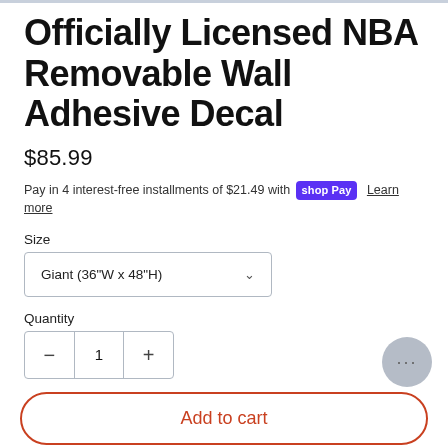Officially Licensed NBA Removable Wall Adhesive Decal
$85.99
Pay in 4 interest-free installments of $21.49 with Shop Pay  Learn more
Size
Giant (36"W x 48"H)
Quantity
1
Add to cart